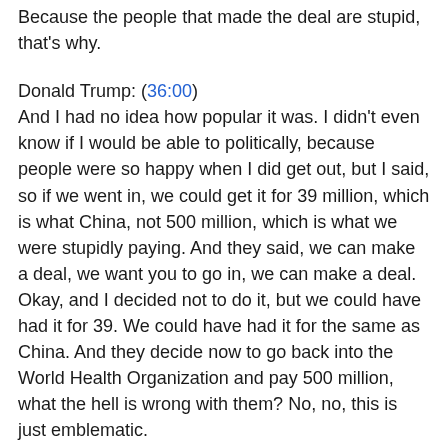Because the people that made the deal are stupid, that's why.
Donald Trump: (36:00)
And I had no idea how popular it was. I didn't even know if I would be able to politically, because people were so happy when I did get out, but I said, so if we went in, we could get it for 39 million, which is what China, not 500 million, which is what we were stupidly paying. And they said, we can make a deal, we want you to go in, we can make a deal. Okay, and I decided not to do it, but we could have had it for 39. We could have had it for the same as China. And they decide now to go back into the World Health Organization and pay 500 million, what the hell is wrong with them? No, no, this is just emblematic.